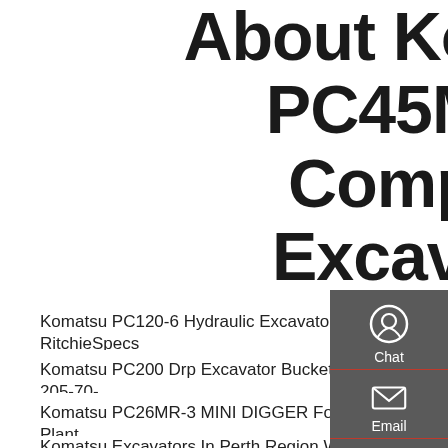About Komatsu PC45MR-3 Compact Excavator Service Manual
Komatsu PC120-6 Hydraulic Excavator - RitchieSpecs
Komatsu PC200 Drp Excavator Bucket Tooth 205-70-
Komatsu PC26MR-3 MINI DIGGER For Sale UK Plant
Komatsu Excavators In Perth Region WA Gumtree